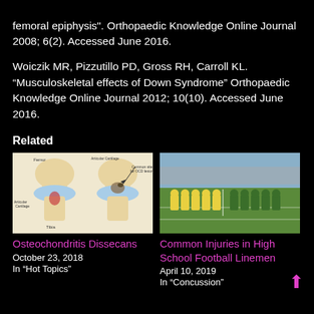femoral epiphysis". Orthopaedic Knowledge Online Journal 2008; 6(2). Accessed June 2016.
Woiczik MR, Pizzutillo PD, Gross RH, Carroll KL. “Musculoskeletal effects of Down Syndrome” Orthopaedic Knowledge Online Journal 2012; 10(10). Accessed June 2016.
Related
[Figure (illustration): Medical illustration showing two knee joint cross-sections depicting articular cartilage and femur anatomy, used to illustrate Osteochondritis Dissecans]
Osteochondritis Dissecans
October 23, 2018
In "Hot Topics"
[Figure (photo): Photograph of high school football players lined up at the line of scrimmage on a football field]
Common Injuries in High School Football Linemen
April 10, 2019
In "Concussion"